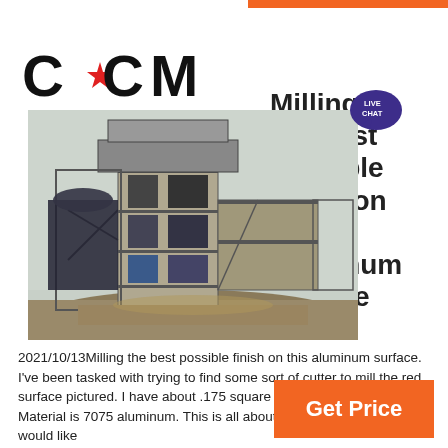[Figure (logo): CCM logo with red star between two C letters and M]
Milling the best possible finish on this aluminum surface
[Figure (photo): Industrial milling facility multi-story steel structure building]
2021/10/13Milling the best possible finish on this aluminum surface. I've been tasked with trying to find some sort of cutter to mill the red surface pictured. I have about .175 square between the outer islands. Material is 7075 aluminum. This is all about surface finish, customer would like
[Figure (other): Get Price orange button]